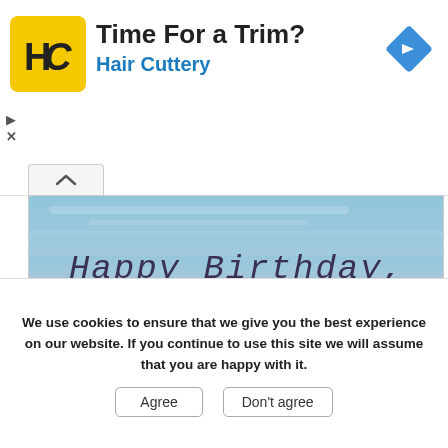[Figure (logo): Hair Cuttery HC logo in yellow square with rounded corners]
Time For a Trim?
Hair Cuttery
[Figure (photo): Birthday card image with gradient background (blue sky, pink/purple hues) showing handwritten-style text: 'Happy Birthday, dear father-in-law! May your special day']
We use cookies to ensure that we give you the best experience on our website. If you continue to use this site we will assume that you are happy with it.
Agree
Don't agree